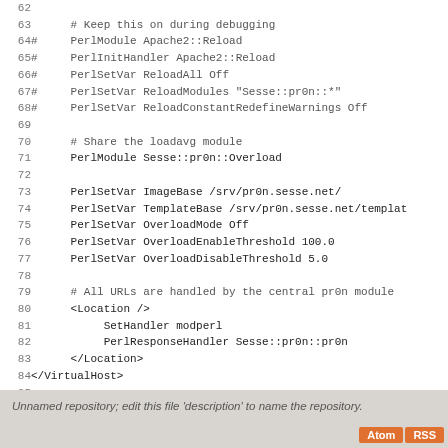Code listing lines 62–89 showing Apache mod_perl configuration for pr0n/Sesse application
Unnamed repository; edit this file 'description' to name the repository.